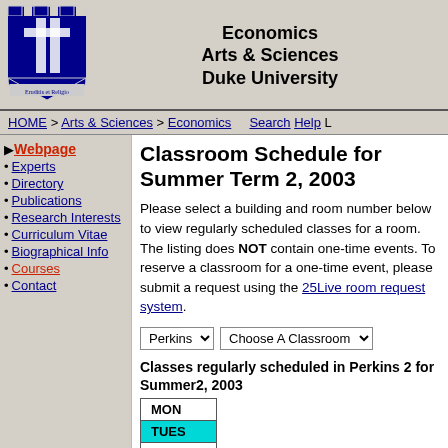Economics
Arts & Sciences
Duke University
HOME > Arts & Sciences > Economics   Search  Help
▶ Webpage
• Experts
• Directory
• Publications
• Research Interests
• Curriculum Vitae
• Biographical Info
• Courses
• Contact
Classroom Schedule for Summer Term 2, 2003
Please select a building and room number below to view regularly scheduled classes for a room. The listing does NOT contain one-time events. To reserve a classroom for a one-time event, please submit a request using the 25Live room request system.
Perkins [dropdown]   Choose A Classroom [dropdown]
Classes regularly scheduled in Perkins 2 for Summer2, 2003
| MON |
| TUES |
| WED |